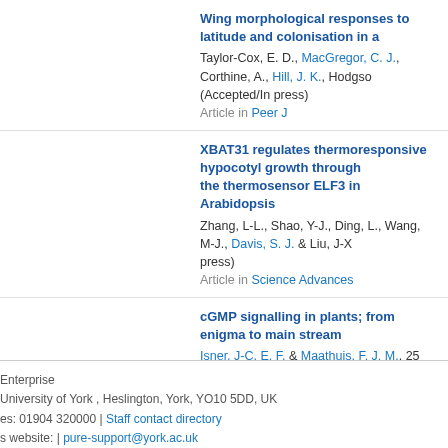Wing morphological responses to latitude and colonisation in a
Taylor-Cox, E. D., MacGregor, C. J., Corthine, A., Hill, J. K., Hodgso...
(Accepted/In press)
Article in Peer J
XBAT31 regulates thermoresponsive hypocotyl growth through the thermosensor ELF3 in Arabidopsis
Zhang, L-L., Shao, Y-J., Ding, L., Wang, M-J., Davis, S. J. & Liu, J-X... (Accepted/In press)
Article in Science Advances
cGMP signalling in plants; from enigma to main stream
Isner, J-C. E. F. & Maathuis, F. J. M., 25 Nov 2016, (Accepted/In pre...
Article in FUNCTIONAL PLANT BIOLOGY
Article › Research › Not peer-reviewed
The Life of William Prest, York Entomologist (1824-1884)
Mayhew, P. J., 24 Sep 2020, (Accepted/In press)
Article in The Naturalist
Enterprise
University of York , Heslington, York, YO10 5DD, UK
es: 01904 320000 | Staff contact directory
s website: | pure-support@york.ac.uk